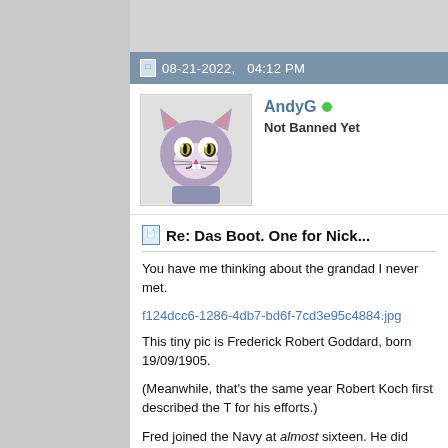08-21-2022,   04:12 PM
[Figure (illustration): Tom cat cartoon avatar image (Tom from Tom and Jerry)]
AndyG
Not Banned Yet
Re: Das Boot. One for Nick...
You have me thinking about the grandad I never met.
f124dcc6-1286-4db7-bd6f-7cd3e95c4884.jpg
This tiny pic is Frederick Robert Goddard, born 19/09/1905.
(Meanwhile, that's the same year Robert Koch first described the T for his efforts.)
Fred joined the Navy at almost sixteen. He did very well and became about in the Med., and, later, was posted off to work onboard L-Cla China Station in the 20s.
There he contracted TB (along with loads of other submariners wo subsequently died (back here!) aged just 37 - having, luckily for me
Had he hung on for a year or two, he could have benefitted from st
Ah well... But intriguingly, Fred was an electrical guru. Ended...